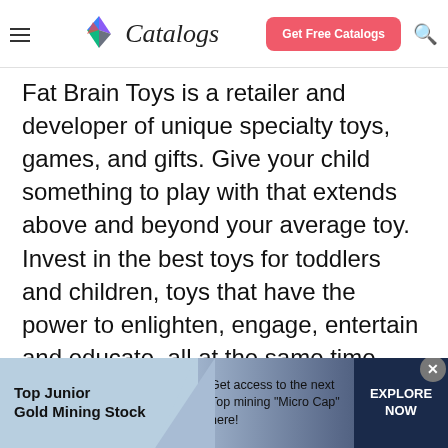Catalogs — Get Free Catalogs
Fat Brain Toys is a retailer and developer of unique specialty toys, games, and gifts. Give your child something to play with that extends above and beyond your average toy. Invest in the best toys for toddlers and children, toys that have the power to enlighten, engage, entertain and educate, all at the same time.
[Figure (infographic): Advertisement banner for Top Junior Gold Mining Stock. Left section shows bold text 'Top Junior Gold Mining Stock', middle reads 'Get access to the next Top mining "Micro Cap" here!', right section has dark navy background with 'EXPLORE NOW' text. A close button (x) appears at top right.]